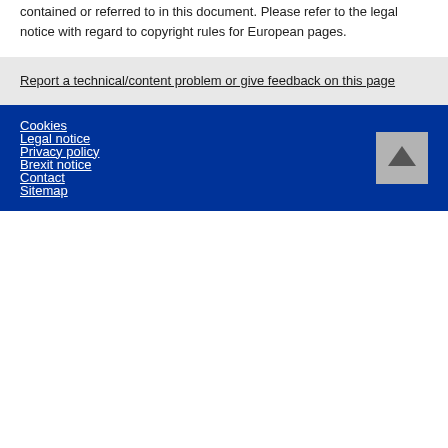contained or referred to in this document. Please refer to the legal notice with regard to copyright rules for European pages.
Report a technical/content problem or give feedback on this page
Cookies
Legal notice
Privacy policy
Brexit notice
Contact
Sitemap